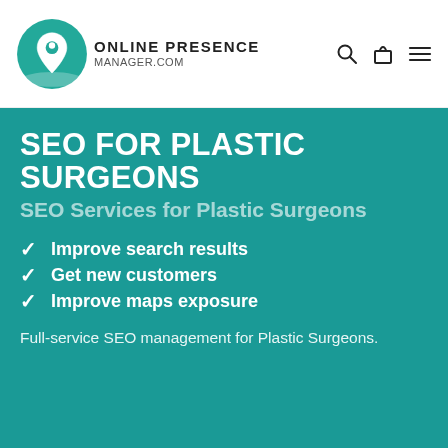ONLINE PRESENCE MANAGER.COM
SEO FOR PLASTIC SURGEONS
SEO Services for Plastic Surgeons
Improve search results
Get new customers
Improve maps exposure
Full-service SEO management for Plastic Surgeons.